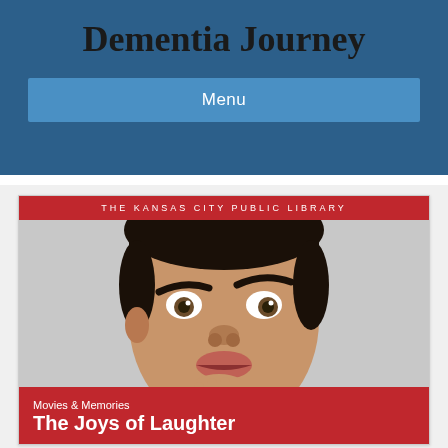Dementia Journey
Menu
[Figure (photo): Kansas City Public Library event poster showing a man (resembling Mr. Bean / Rowan Atkinson) making a thoughtful expression with his hand on his chin. Red banner at top reads 'THE KANSAS CITY PUBLIC LIBRARY'. Red banner at bottom reads 'Movies & Memories' and 'The Joys of Laughter'.]
Movies & Memories
The Joys of Laughter